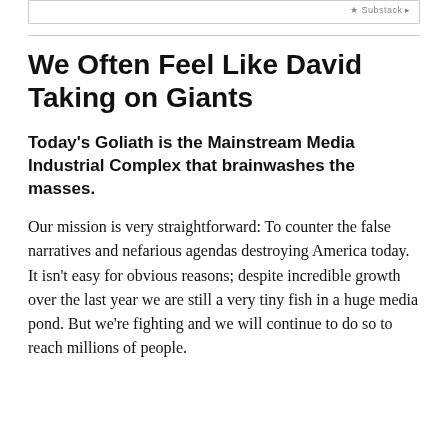We Often Feel Like David Taking on Giants
Today's Goliath is the Mainstream Media Industrial Complex that brainwashes the masses.
Our mission is very straightforward: To counter the false narratives and nefarious agendas destroying America today. It isn't easy for obvious reasons; despite incredible growth over the last year we are still a very tiny fish in a huge media pond. But we're fighting and we will continue to do so to reach millions of people.